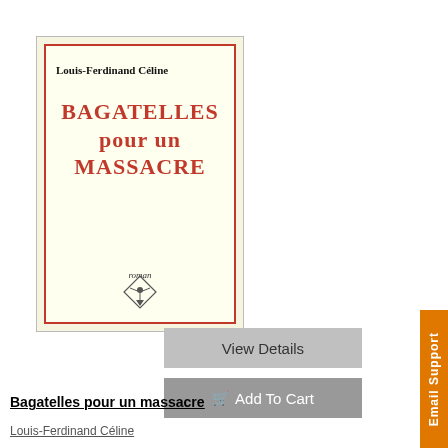[Figure (illustration): Book cover of 'Bagatelles pour un massacre' by Louis-Ferdinand Céline. Yellow cover with red double border, red bold title text in three lines 'BAGATELLES pour un MASSACRE', author name in black at top, 'roman' in italics near bottom with a small publisher logo (winged figure).]
View Details
Add To Cart
Bagatelles pour un massacre
Louis-Ferdinand Céline
Email Support